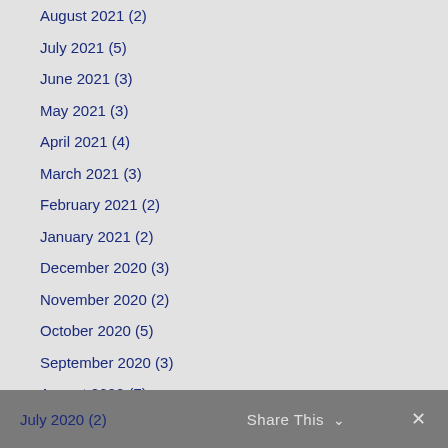August 2021 (2)
July 2021 (5)
June 2021 (3)
May 2021 (3)
April 2021 (4)
March 2021 (3)
February 2021 (2)
January 2021 (2)
December 2020 (3)
November 2020 (2)
October 2020 (5)
September 2020 (3)
August 2020 (7)
July 2020 (2)   Share This   ✕